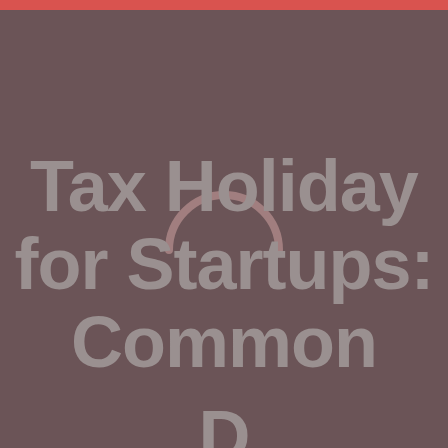Tax Holiday for Startups: Common D...